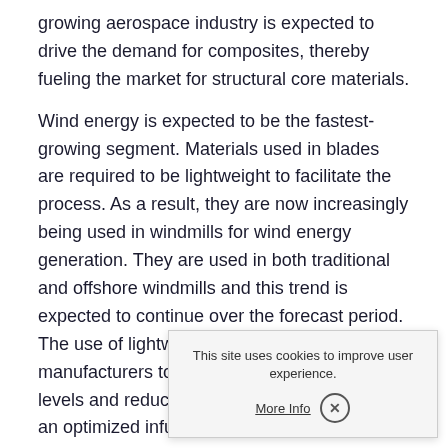growing aerospace industry is expected to drive the demand for composites, thereby fueling the market for structural core materials.
Wind energy is expected to be the fastest-growing segment. Materials used in blades are required to be lightweight to facilitate the process. As a result, they are now increasingly being used in windmills for wind energy generation. They are used in both traditional and offshore windmills and this trend is expected to continue over the forecast period. The use of lightweight cores enables blade manufacturers to achieve increased quality levels and reduced cycle times with the help of an optimized infusion process.
Regional Insights
North America led the global... 2016, and this trend is expe... forecast period. Growth of th... and automotive industries, mostly in the developed...
This site uses cookies to improve user experience.